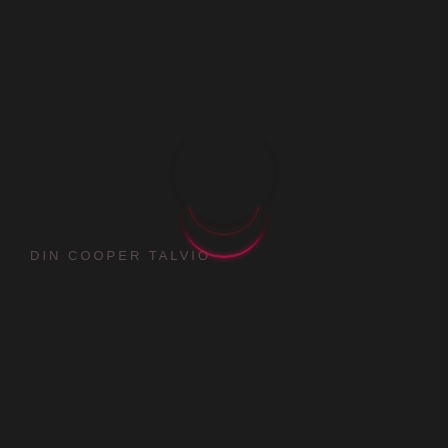DIN COOPER TALVIO
[Figure (illustration): A thin crescent moon shape rendered as a glowing pink/red arc on a very dark background, centered slightly right of center in the image. The crescent is oriented with the opening facing upward, showing just the bottom sliver of a circle.]